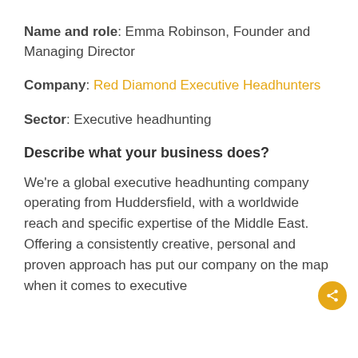Name and role: Emma Robinson, Founder and Managing Director
Company: Red Diamond Executive Headhunters
Sector: Executive headhunting
Describe what your business does?
We're a global executive headhunting company operating from Huddersfield, with a worldwide reach and specific expertise of the Middle East. Offering a consistently creative, personal and proven approach has put our company on the map when it comes to executive